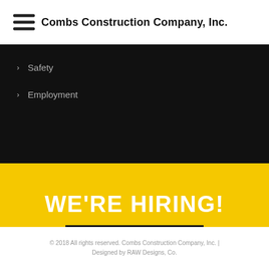Combs Construction Company, Inc.
Safety
Employment
WE'RE HIRING!
APPLY NOW »
© 2018 All rights reserved. Combs Construction Company, Inc. | Designed by RAW Designs, Co.